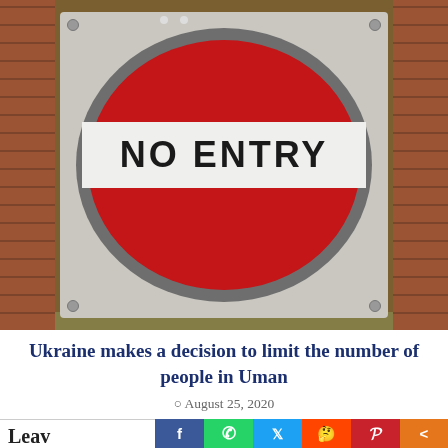[Figure (photo): A red 'NO ENTRY' road sign mounted on a white metal plate, against a brick wall background. The sign features a circular red shape with a white rectangular bar displaying 'NO ENTRY' in bold black letters.]
Ukraine makes a decision to limit the number of people in Uman
August 25, 2020
Leav